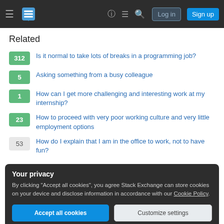Stack Exchange navigation bar with Log in and Sign up buttons
Related
312 — Is it normal to take lots of breaks in a programming job?
5 — Asking something from a busy colleague
1 — How can I get more challenging and interesting work at my internship?
23 — How to proceed with very poor working culture and very little employment options
53 — How do I explain that I am in the office to work, not to have fun?
Your privacy
By clicking "Accept all cookies", you agree Stack Exchange can store cookies on your device and disclose information in accordance with our Cookie Policy.
Accept all cookies | Customize settings
hire